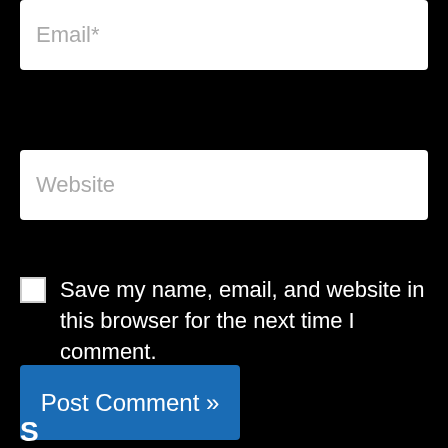[Figure (screenshot): Email input field with placeholder text 'Email*' on black background]
[Figure (screenshot): Website input field with placeholder text 'Website' on black background]
Save my name, email, and website in this browser for the next time I comment.
Post Comment »
S